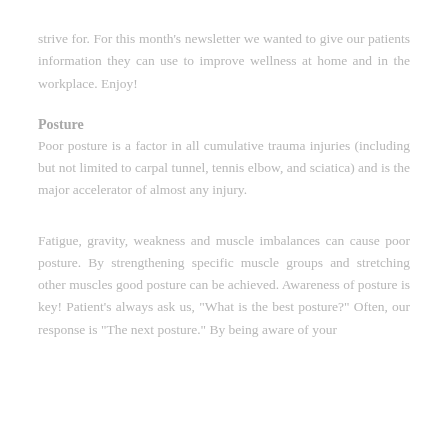strive for. For this month's newsletter we wanted to give our patients information they can use to improve wellness at home and in the workplace. Enjoy!
Posture
Poor posture is a factor in all cumulative trauma injuries (including but not limited to carpal tunnel, tennis elbow, and sciatica) and is the major accelerator of almost any injury.
Fatigue, gravity, weakness and muscle imbalances can cause poor posture. By strengthening specific muscle groups and stretching other muscles good posture can be achieved. Awareness of posture is key! Patient's always ask us, "What is the best posture?" Often, our response is "The next posture." By being aware of your